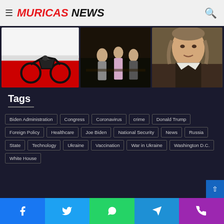MURICAS NEWS
[Figure (photo): Three images: motorcycle racing on red/white background, people at a formal event, portrait of historical figure]
Tags
Biden Administration
Congress
Coronavirus
crime
Donald Trump
Foreign Policy
Healthcare
Joe Biden
National Security
News
Russia
State
Technology
Ukraine
Vaccination
War in Ukraine
Washington D.C.
White House
Facebook Twitter WhatsApp Telegram Phone